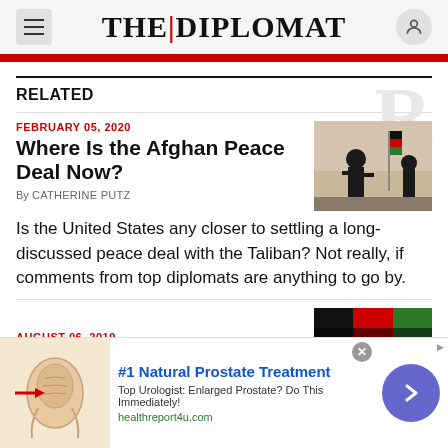THE | DIPLOMAT
RELATED
FEBRUARY 05, 2020
Where Is the Afghan Peace Deal Now?
By CATHERINE PUTZ
Is the United States any closer to settling a long-discussed peace deal with the Taliban? Not really, if comments from top diplomats are anything to go by.
AUGUST 06, 2019
[Figure (photo): Silhouette of soldier with Afghan flag in background]
[Figure (photo): Advertisement image showing anatomical illustration for prostate treatment]
#1 Natural Prostate Treatment Top Urologist: Enlarged Prostate? Do This Immediately! healthreport4u.com